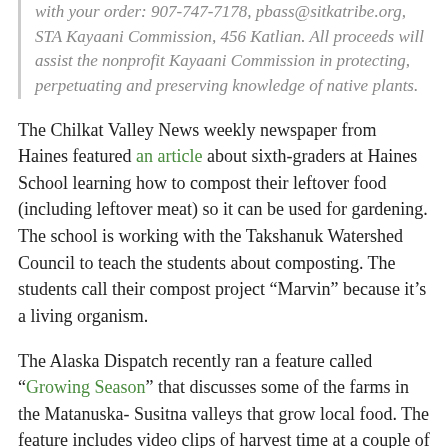with your order: 907-747-7178, pbass@sitkatribe.org, STA Kayaani Commission, 456 Katlian. All proceeds will assist the nonprofit Kayaani Commission in protecting, perpetuating and preserving knowledge of native plants.
The Chilkat Valley News weekly newspaper from Haines featured an article about sixth-graders at Haines School learning how to compost their leftover food (including leftover meat) so it can be used for gardening. The school is working with the Takshanuk Watershed Council to teach the students about composting. The students call their compost project “Marvin” because it’s a living organism.
The Alaska Dispatch recently ran a feature called “Growing Season” that discusses some of the farms in the Matanuska-Susitna valleys that grow local food. The feature includes video clips of harvest time at a couple of the farms featured.